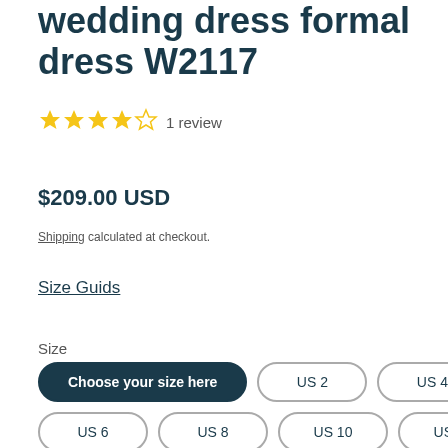wedding dress formal dress W2117
4.0 out of 5 stars  1 review
$209.00 USD
Shipping calculated at checkout.
Size Guids
Size
Choose your size here  US 2  US 4  US 6  US 8  US 10  US 12  US 14  US 16